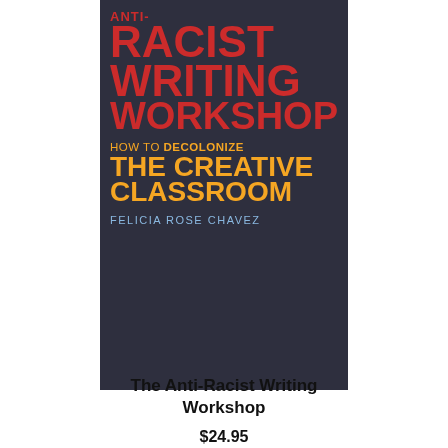[Figure (illustration): Book cover of 'The Anti-Racist Writing Workshop: How to Decolonize the Creative Classroom' by Felicia Rose Chavez. Dark navy/charcoal background with large bold red text reading 'RACIST WRITING WORKSHOP', orange text reading 'HOW TO DECOLONIZE THE CREATIVE CLASSROOM', and light blue text reading 'FELICIA ROSE CHAVEZ'.]
The Anti-Racist Writing Workshop
$24.95